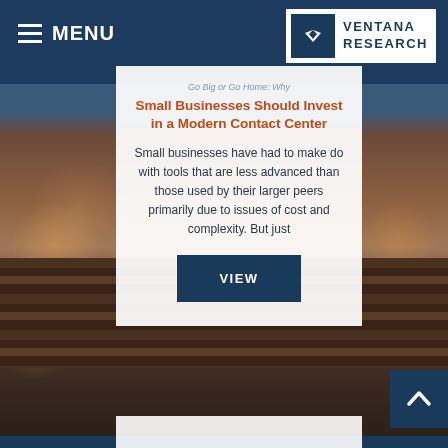MENU
[Figure (logo): Ventana Research logo — white background with dark blue V-shape icon and text VENTANA RESEARCH]
Go Big or Go Home: Why
Small Businesses Should Invest in a Modern Contact Center
Small businesses have had to make do with tools that are less advanced than those used by their larger peers primarily due to issues of cost and complexity. But just
VIEW